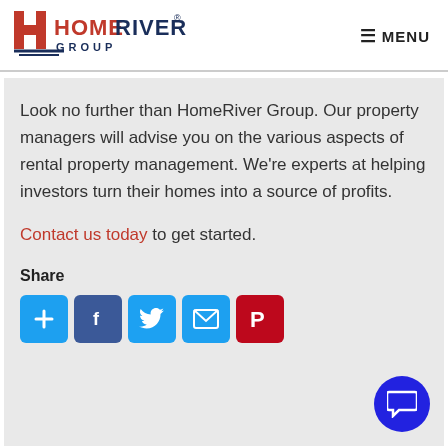[Figure (logo): HomeRiver Group logo with red H icon and blue/red text]
≡ MENU
Look no further than HomeRiver Group. Our property managers will advise you on the various aspects of rental property management. We're experts at helping investors turn their homes into a source of profits.
Contact us today to get started.
Share
[Figure (infographic): Share buttons: AddThis (plus), Facebook (f), Twitter (bird), Email (envelope), Pinterest (P)]